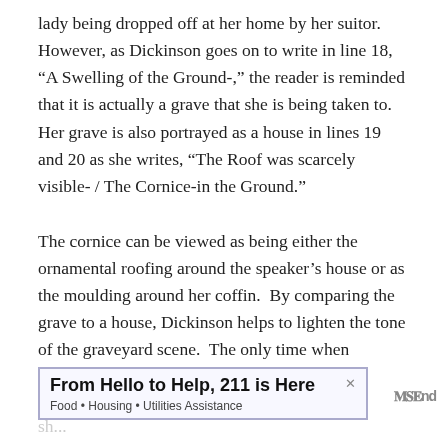lady being dropped off at her home by her suitor. However, as Dickinson goes on to write in line 18, “A Swelling of the Ground-,” the reader is reminded that it is actually a grave that she is being taken to. Her grave is also portrayed as a house in lines 19 and 20 as she writes, “The Roof was scarcely visible- / The Cornice-in the Ground.”
The cornice can be viewed as being either the ornamental roofing around the speaker’s house or as the moulding around her coffin. By comparing the grave to a house, Dickinson helps to lighten the tone of the graveyard scene. The only time when Dickinson does give the reader a true sense of mortality is as the sun passes the speaker.
[Figure (other): Advertisement banner reading 'From Hello to Help, 211 is Here' with subtitle 'Food • Housing • Utilities Assistance' and a close button]